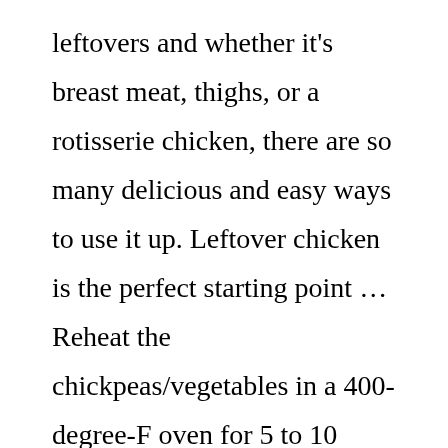leftovers and whether it's breast meat, thighs, or a rotisserie chicken, there are so many delicious and easy ways to use it up. Leftover chicken is the perfect starting point … Reheat the chickpeas/vegetables in a 400-degree-F oven for 5 to 10 minutes, until hot. Like the last chicken pot pie, this recipe calls for plenty of pantry staples. Directions. Place potatoes on one of the prepared trays, drizzle with oil, sprinkle with curry powder and season with salt … This lovely chicken and rice salad is an excellent picnic dish … Peel